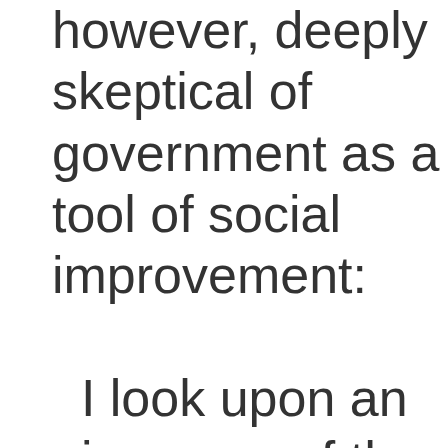however, deeply skeptical of government as a tool of social improvement:

I look upon an increase of the